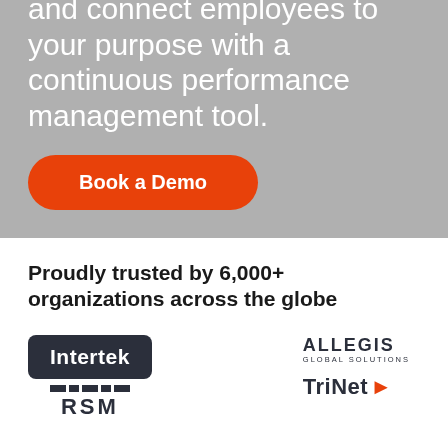and connect employees to your purpose with a continuous performance management tool.
[Figure (other): Orange 'Book a Demo' call-to-action button with rounded pill shape]
Proudly trusted by 6,000+ organizations across the globe
[Figure (logo): Intertek logo in dark box]
[Figure (logo): RSM logo with bar pattern above text]
[Figure (logo): Allegis Global Solutions logo]
[Figure (logo): TriNet logo with orange arrow]